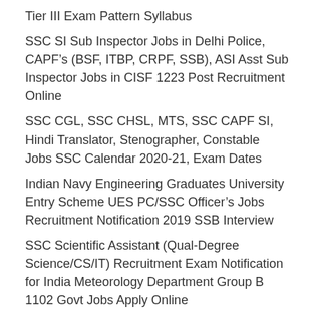Tier III Exam Pattern Syllabus
SSC SI Sub Inspector Jobs in Delhi Police, CAPF’s (BSF, ITBP, CRPF, SSB), ASI Asst Sub Inspector Jobs in CISF 1223 Post Recruitment Online
SSC CGL, SSC CHSL, MTS, SSC CAPF SI, Hindi Translator, Stenographer, Constable Jobs SSC Calendar 2020-21, Exam Dates
Indian Navy Engineering Graduates University Entry Scheme UES PC/SSC Officer’s Jobs Recruitment Notification 2019 SSB Interview
SSC Scientific Assistant (Qual-Degree Science/CS/IT) Recruitment Exam Notification for India Meteorology Department Group B 1102 Govt Jobs Apply Online
SSC CHSL Postal Assistant/ Sorting Assistant (12th pass), DEO, LDC, Jr Secretarial Asst JSA Recruitment Exam Notification 2022 Govt Jobs Online